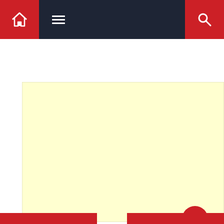[Figure (screenshot): Navigation bar with home icon (red background), hamburger menu icon, dark background, and search icon (red background) on the right]
[Figure (other): Advertisement area - large light yellow/cream colored rectangular block]
[Figure (other): Profile card showing a generic avatar silhouette icon on gray background with the name 'Glen L Nichols' in bold dark text next to it, and a red circular scroll-to-top button at bottom right]